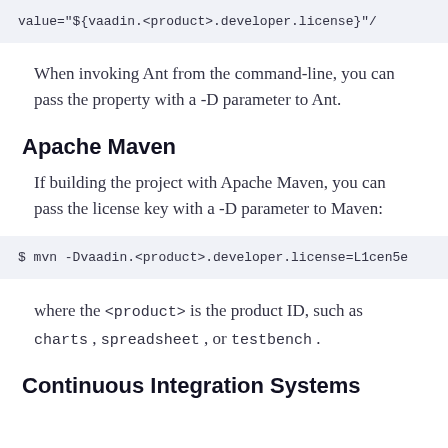value="${vaadin.<product>.developer.license}"/
When invoking Ant from the command-line, you can pass the property with a -D parameter to Ant.
Apache Maven
If building the project with Apache Maven, you can pass the license key with a -D parameter to Maven:
$ mvn -Dvaadin.<product>.developer.license=L1cen5e
where the <product> is the product ID, such as charts , spreadsheet , or testbench .
Continuous Integration Systems